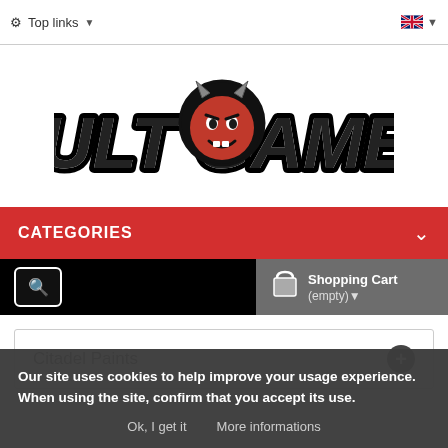Top links | [UK flag]
[Figure (logo): Kult Games logo — stylized devil mascot with horns and the text KULT GAMES in bold italic lettering]
CATEGORIES
Shopping Cart (empty)
Citadel Paints
Our site uses cookies to help improve your usage experience. When using the site, confirm that you accept its use.
Ok, I get it   More informations